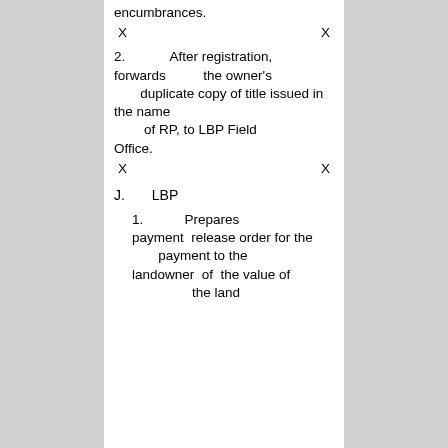encumbrances.
X                X
2. After registration, forwards the owner's duplicate copy of title issued in the name of RP, to LBP Field Office.
X                X
J. LBP
1. Prepares payment release order for the payment to the landowner of the value of the land